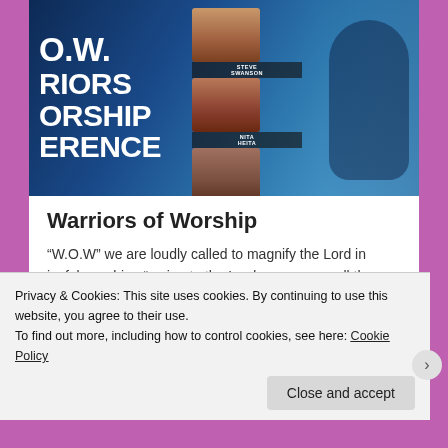[Figure (photo): Warriors of Worship conference promotional image showing text 'W.O.W. Warriors Worship Conference' on left with photos of Steve Swanson, a woman (Heita), and Steve Mitchell on the right, set against a blue stage/worship background with silhouette.]
Warriors of Worship
“W.O.W” we are loudly called to magnify the Lord in joyful worship.  “...sing to the Lord a new song all the earth; bless His name; declare His glory and His
Privacy & Cookies: This site uses cookies. By continuing to use this website, you agree to their use.
To find out more, including how to control cookies, see here: Cookie Policy
Close and accept